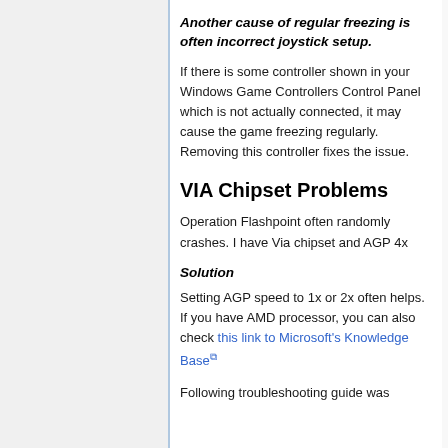Another cause of regular freezing is often incorrect joystick setup.
If there is some controller shown in your Windows Game Controllers Control Panel which is not actually connected, it may cause the game freezing regularly. Removing this controller fixes the issue.
VIA Chipset Problems
Operation Flashpoint often randomly crashes. I have Via chipset and AGP 4x
Solution
Setting AGP speed to 1x or 2x often helps. If you have AMD processor, you can also check this link to Microsoft's Knowledge Base
Following troubleshooting guide was